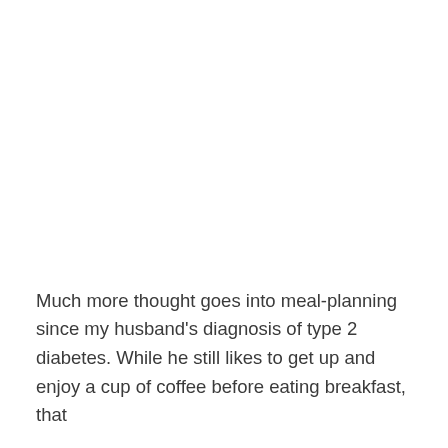Much more thought goes into meal-planning since my husband's diagnosis of type 2 diabetes. While he still likes to get up and enjoy a cup of coffee before eating breakfast, that